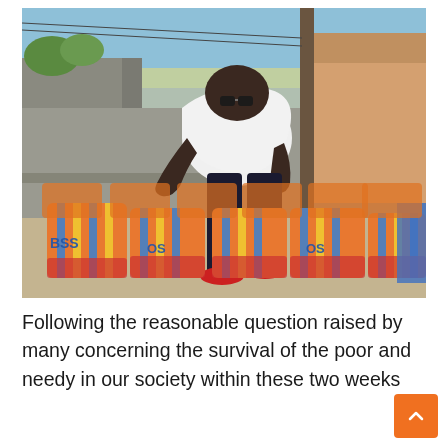[Figure (photo): A large man wearing a white sleeveless shirt and dark jeans, bending over colorful striped bags (blue, orange, yellow stripes with red accents) arranged in rows on a courtyard ground. Multiple large woven bags labeled 'BOSS' or 'OS' are visible. Background shows a concrete block wall, sandy-colored building on the right, and a utility pole against a blue sky.]
Following the reasonable question raised by many concerning the survival of the poor and needy in our society within these two weeks quarantine period, from our organization